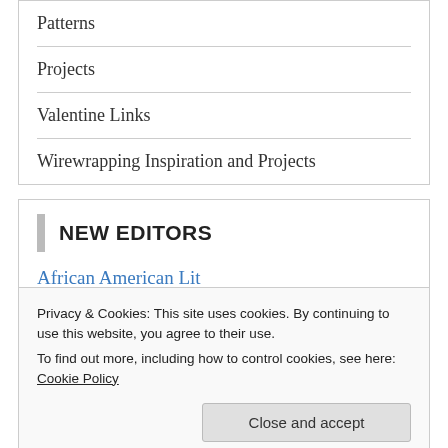Patterns
Projects
Valentine Links
Wirewrapping Inspiration and Projects
NEW EDITORS
African American Lit
Chocolate
Classical Music
Privacy & Cookies: This site uses cookies. By continuing to use this website, you agree to their use.
To find out more, including how to control cookies, see here: Cookie Policy
Mexican Food